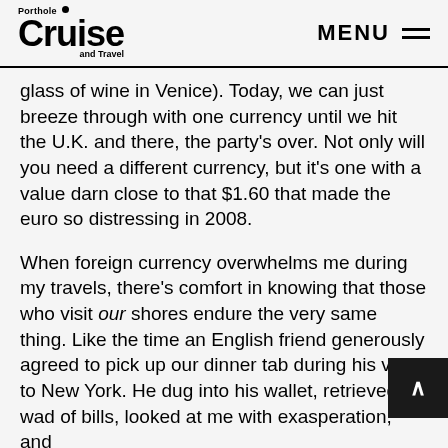Porthole Cruise and Travel | MENU
glass of wine in Venice). Today, we can just breeze through with one currency until we hit the U.K. and there, the party's over. Not only will you need a different currency, but it's one with a value darn close to that $1.60 that made the euro so distressing in 2008.
When foreign currency overwhelms me during my travels, there's comfort in knowing that those who visit our shores endure the very same thing. Like the time an English friend generously agreed to pick up our dinner tab during his visit to New York. He dug into his wallet, retrieved a wad of bills, looked at me with exasperation, and